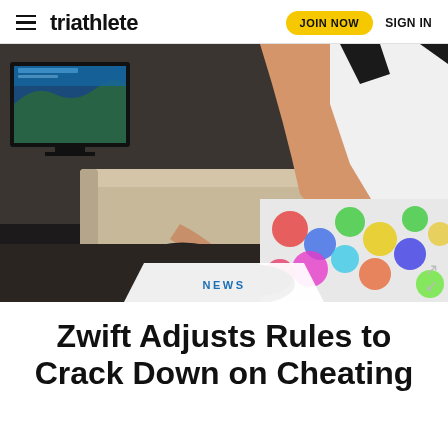triathlete  JOIN NOW  SIGN IN
[Figure (photo): Person riding an indoor bike trainer in a living room, wearing a colorful patterned tri-suit, with a Zwift cycling game displayed on a TV in the background]
NEWS
Zwift Adjusts Rules to Crack Down on Cheating